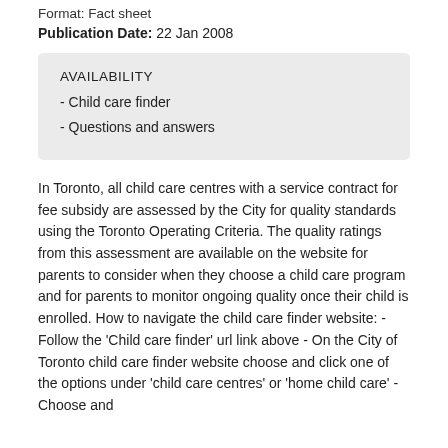Format: Fact sheet
Publication Date: 22 Jan 2008
AVAILABILITY
- Child care finder
- Questions and answers
In Toronto, all child care centres with a service contract for fee subsidy are assessed by the City for quality standards using the Toronto Operating Criteria. The quality ratings from this assessment are available on the website for parents to consider when they choose a child care program and for parents to monitor ongoing quality once their child is enrolled. How to navigate the child care finder website: - Follow the 'Child care finder' url link above - On the City of Toronto child care finder website choose and click one of the options under 'child care centres' or 'home child care' - Choose and